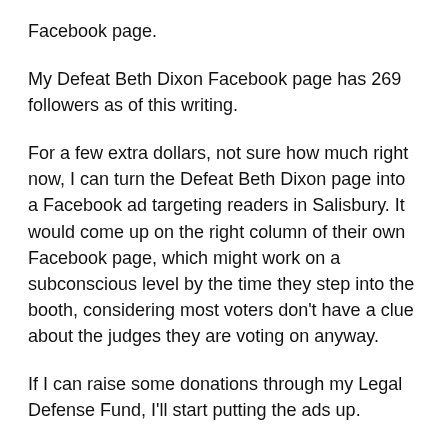Facebook page.
My Defeat Beth Dixon Facebook page has 269 followers as of this writing.
For a few extra dollars, not sure how much right now, I can turn the Defeat Beth Dixon page into a Facebook ad targeting readers in Salisbury. It would come up on the right column of their own Facebook page, which might work on a subconscious level by the time they step into the booth, considering most voters don’t have a clue about the judges they are voting on anyway.
If I can raise some donations through my Legal Defense Fund, I’ll start putting the ads up.
Dixon still has a [__website__]